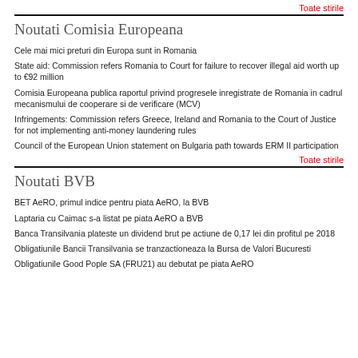Toate stirile
Noutati Comisia Europeana
Cele mai mici preturi din Europa sunt in Romania
State aid: Commission refers Romania to Court for failure to recover illegal aid worth up to €92 million
Comisia Europeana publica raportul privind progresele inregistrate de Romania in cadrul mecanismului de cooperare si de verificare (MCV)
Infringements: Commission refers Greece, Ireland and Romania to the Court of Justice for not implementing anti-money laundering rules
Council of the European Union statement on Bulgaria path towards ERM II participation
Toate stirile
Noutati BVB
BET AeRO, primul indice pentru piata AeRO, la BVB
Laptaria cu Caimac s-a listat pe piata AeRO a BVB
Banca Transilvania plateste un dividend brut pe actiune de 0,17 lei din profitul pe 2018
Obligatiunile Bancii Transilvania se tranzactioneaza la Bursa de Valori Bucuresti
Obligatiunile Good Pople SA (FRU21) au debutat pe piata AeRO